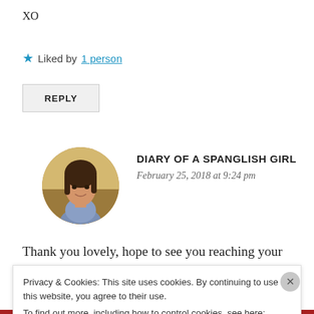XO
Liked by 1 person
REPLY
[Figure (photo): Circular avatar photo of a young woman with dark hair, smiling, outdoors with warm background]
DIARY OF A SPANGLISH GIRL
February 25, 2018 at 9:24 pm
Thank you lovely, hope to see you reaching your
Privacy & Cookies: This site uses cookies. By continuing to use this website, you agree to their use.
To find out more, including how to control cookies, see here: Cookie Policy
Close and accept